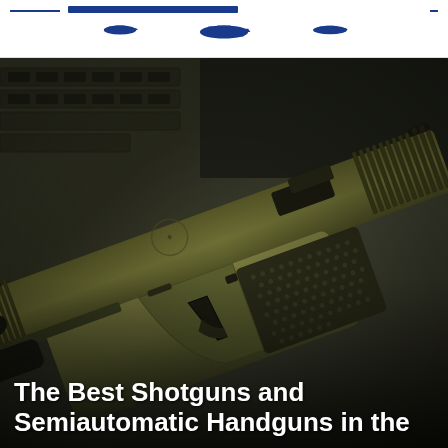The Best Shotguns and Semiautomatic Handguns in the
[Figure (photo): Close-up photograph of an olive drab / OD green Glock semiautomatic pistol with stippled grip texture and aftermarket trigger, resting on dark tactical fabric/MOLLE gear background]
The Best Shotguns and Semiautomatic Handguns in the